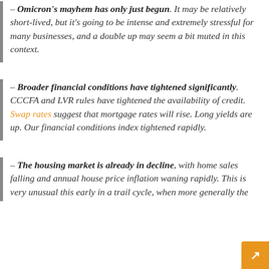– Omicron's mayhem has only just begun. It may be relatively short-lived, but it's going to be intense and extremely stressful for many businesses, and a double up may seem a bit muted in this context.
– Broader financial conditions have tightened significantly. CCCFA and LVR rules have tightened the availability of credit. Swap rates suggest that mortgage rates will rise. Long yields are up. Our financial conditions index tightened rapidly.
– The housing market is already in decline, with home sales falling and annual house price inflation waning rapidly. This is very unusual this early in a trail cycle, when more generally the